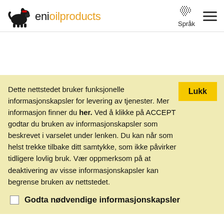eni oil products — Språk navigation header
Dette nettstedet bruker funksjonelle informasjonskapsler for levering av tjenester. Mer informasjon finner du her. Ved å klikke på ACCEPT godtar du bruken av informasjonskapsler som beskrevet i varselet under lenken. Du kan når som helst trekke tilbake ditt samtykke, som ikke påvirker tidligere lovlig bruk. Vær oppmerksom på at deaktivering av visse informasjonskapsler kan begrense bruken av nettstedet.
Godta nødvendige informasjonskapsler